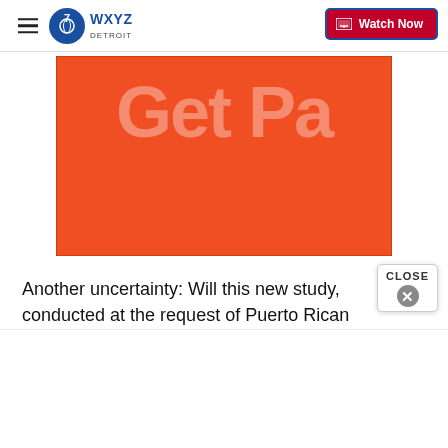WXYZ Detroit — hamburger menu, logo, Watch Now button
[Figure (advertisement): Orange rectangle advertisement with partially visible text 'Get Pa' in large light-colored letters on an orange-red background]
Another uncertainty: Will this new study, conducted at the request of Puerto Rican officials, provide any closure to families who've long argued their loved ones died because of the storm, but haven't received any
[Figure (other): CLOSE button with X circle popup overlay in bottom right corner]